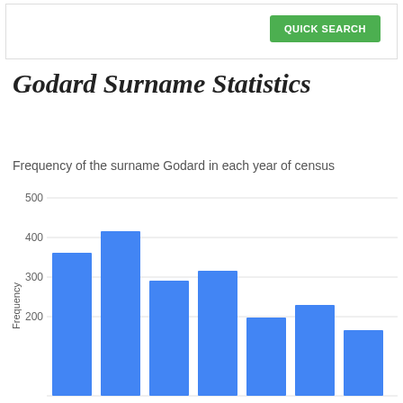QUICK SEARCH
Godard Surname Statistics
Frequency of the surname Godard in each year of census
[Figure (bar-chart): Frequency of the surname Godard in each year of census]